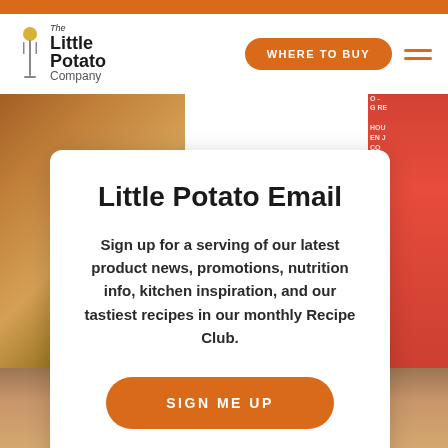[Figure (screenshot): Website screenshot of The Little Potato Company with orange top bar, white navigation with logo and WHERE TO BUY button, food background images, and a white modal card overlay]
The Little Potato Company — WHERE TO BUY
Little Potato Email
Sign up for a serving of our latest product news, promotions, nutrition info, kitchen inspiration, and our tastiest recipes in our monthly Recipe Club.
SIGN ME UP